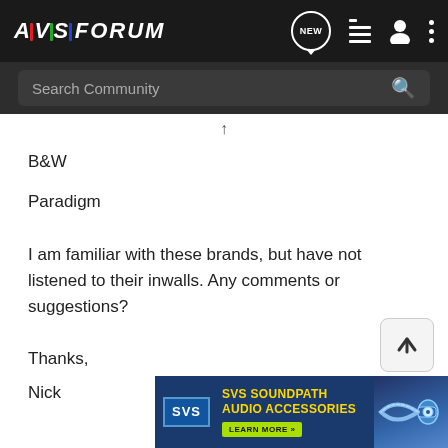AVS FORUM — Search Community, navigation icons
B&W
Paradigm
I am familiar with these brands, but have not listened to their inwalls. Any comments or suggestions?
Thanks,
Nick
[Figure (other): SVS SoundPath Audio Accessories advertisement banner with learn more button]